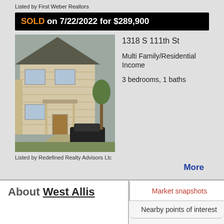Listed by First Weber Realtors
SOLD on 7/22/2022 for $289,900
[Figure (photo): Exterior photo of a two-story residential home at 1318 S 111th St, with a car in the driveway]
1318 S 111th St
Multi Family/Residential Income
3 bedrooms, 1 baths
Listed by Redefined Realty Advisors Llc
More
About West Allis
Market snapshots
Nearby points of interest
Schools